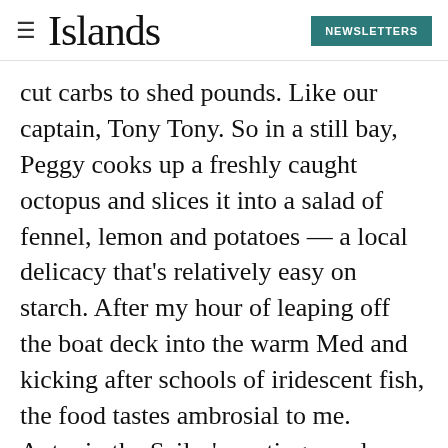Islands | NEWSLETTERS
cut carbs to shed pounds. Like our captain, Tony Tony. So in a still bay, Peggy cooks up a freshly caught octopus and slices it into a salad of fennel, lemon and potatoes — a local delicacy that's relatively easy on starch. After my hour of leaping off the boat deck into the warm Med and kicking after schools of iridescent fish, the food tastes ambrosial to me. Antonio the Sailor's parting words
ring in my head — perhaps the most important link to Italian food is your